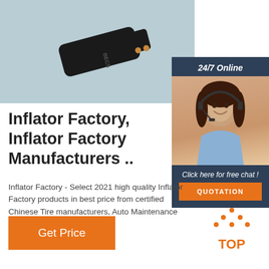[Figure (photo): Product photo of a black portable inflator device on a light blue-gray background]
[Figure (infographic): 24/7 Online chat widget with a female customer service representative wearing a headset, dark blue background, 'Click here for free chat!' text and orange QUOTATION button]
Inflator Factory, Inflator Factory Manufacturers ..
Inflator Factory - Select 2021 high quality Inflator Factory products in best price from certified Chinese Tire manufacturers, Auto Maintenance suppliers, ...
[Figure (illustration): Orange 'TOP' text with orange dotted triangle/arrow icon above it]
Get Price